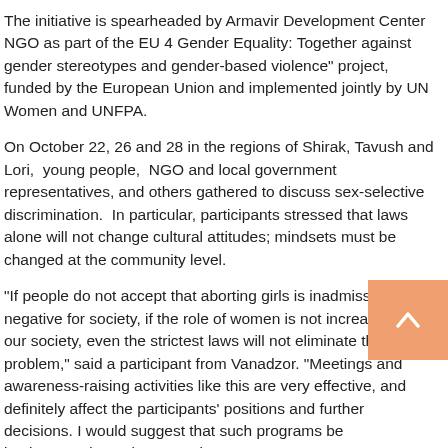The initiative is spearheaded by Armavir Development Center NGO as part of the EU 4 Gender Equality: Together against gender stereotypes and gender-based violence" project,  funded by the European Union and implemented jointly by UN Women and UNFPA.
On October 22, 26 and 28 in the regions of Shirak, Tavush and Lori,  young people,  NGO and local government representatives, and others gathered to discuss sex-selective discrimination.  In particular, participants stressed that laws alone will not change cultural attitudes; mindsets must be changed at the community level.
"If people do not accept that aborting girls is inadmissible and negative for society, if the role of women is not increased in our society, even the strictest laws will not eliminate the problem," said a participant from Vanadzor. "Meetings and awareness-raising activities like this are very effective, and definitely affect the participants' positions and further decisions. I would suggest that such programs be implemented on a larger scale.
Following up on the topic after the meetings, some of the participants posted videos on social networks or conducted short surveys to raise the issue once again among the public  and  understand the public's views. Several activists